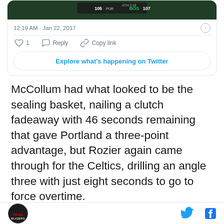[Figure (screenshot): Tweet card showing a basketball scoreboard image with timestamp 12:19 AM · Jan 22, 2017 and action buttons (heart/like with count 1, Reply, Copy link) and an Explore what's happening on Twitter button]
McCollum had what looked to be the sealing basket, nailing a clutch fadeaway with 46 seconds remaining that gave Portland a three-point advantage, but Rozier again came through for the Celtics, drilling an angle three with just eight seconds to go to force overtime.
[Figure (screenshot): NBC Sports Northwest verified Twitter account card header with NBC peacock logo and blue Twitter bird icon]
Portland Trail Blazers logo icon on the left, Twitter bird icon and Facebook f icon on the right